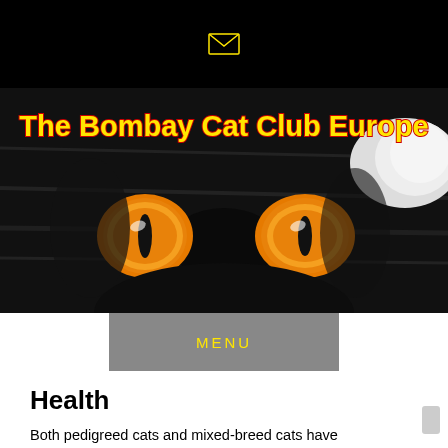[Figure (photo): Close-up photo of a black Bombay cat's face with vivid yellow-orange eyes. Banner text reads 'The Bombay Cat Club Europe' in bold yellow with red outline lettering.]
MENU
Health
Both pedigreed cats and mixed-breed cats have varying incidences of health problems that may be genetic in nature. Bombays are generally healthy, although some of the genetic diseases seen in Burmese has also been seen in Bombays